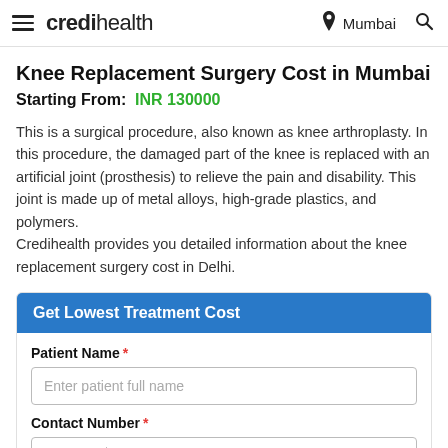credihealth — Mumbai
Knee Replacement Surgery Cost in Mumbai
Starting From:  INR 130000
This is a surgical procedure, also known as knee arthroplasty. In this procedure, the damaged part of the knee is replaced with an artificial joint (prosthesis) to relieve the pain and disability. This joint is made up of metal alloys, high-grade plastics, and polymers. Credihealth provides you detailed information about the knee replacement surgery cost in Delhi.
Get Lowest Treatment Cost
Patient Name *
Enter patient full name
Contact Number *
+1  Enter your contact number